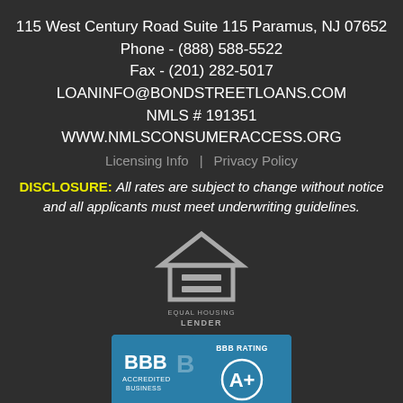115 West Century Road Suite 115 Paramus, NJ 07652
Phone - (888) 588-5522
Fax - (201) 282-5017
LOANINFO@BONDSTREETLOANS.COM
NMLS # 191351
WWW.NMLSCONSUMERACCESS.ORG
Licensing Info | Privacy Policy
DISCLOSURE: All rates are subject to change without notice and all applicants must meet underwriting guidelines.
[Figure (logo): Equal Housing Lender logo — house outline with equal sign, text EQUAL HOUSING LENDER]
[Figure (logo): BBB Accredited Business logo with BBB Rating A+]
Sitemap